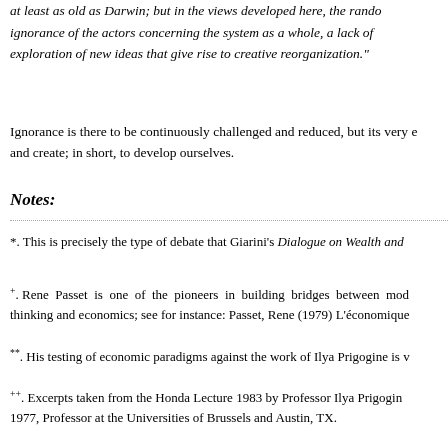at least as old as Darwin; but in the views developed here, the randomness, ignorance of the actors concerning the system as a whole, a lack of exploration of new ideas that give rise to creative reorganization."
Ignorance is there to be continuously challenged and reduced, but its very existence enables us to learn and create; in short, to develop ourselves.
Notes:
*. This is precisely the type of debate that Giarini's Dialogue on Wealth and
+. Rene Passet is one of the pioneers in building bridges between modern biological thinking and economics; see for instance: Passet, Rene (1979) L'économique
**. His testing of economic paradigms against the work of Ilya Prigogine is v
++. Excerpts taken from the Honda Lecture 1983 by Professor Ilya Prigogine, Nobel Prize 1977, Professor at the Universities of Brussels and Austin, TX.